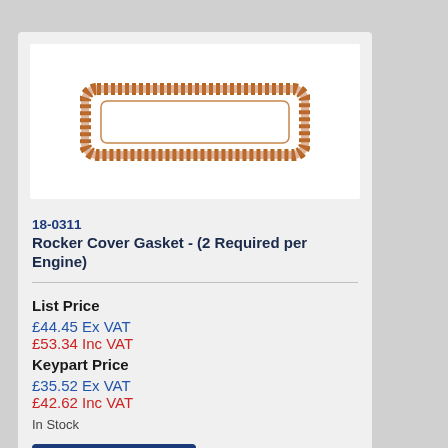[Figure (photo): A copper/brown rocker cover gasket (rectangular shape with rounded corners) on a white background]
18-0311
Rocker Cover Gasket - (2 Required per Engine)
List Price
£44.45 Ex VAT
£53.34 Inc VAT
Keypart Price
£35.52 Ex VAT
£42.62 Inc VAT
In Stock
Add to Basket (0)